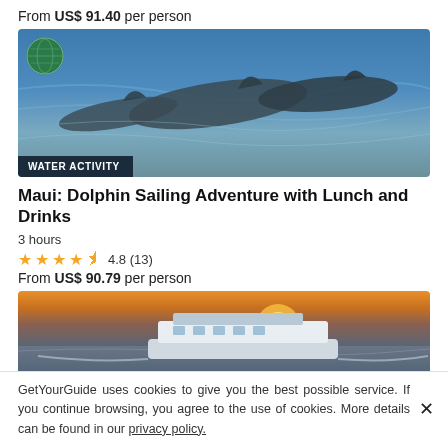From US$ 91.40 per person
[Figure (photo): Dolphins swimming in blue ocean water with a globe/eco logo badge in top left and a dark navy WATER ACTIVITY badge at bottom left]
Maui: Dolphin Sailing Adventure with Lunch and Drinks
3 hours
4.8 (13)
From US$ 90.79 per person
[Figure (photo): A white tour boat on water at sunset with golden sky in background]
GetYourGuide uses cookies to give you the best possible service. If you continue browsing, you agree to the use of cookies. More details can be found in our privacy policy.